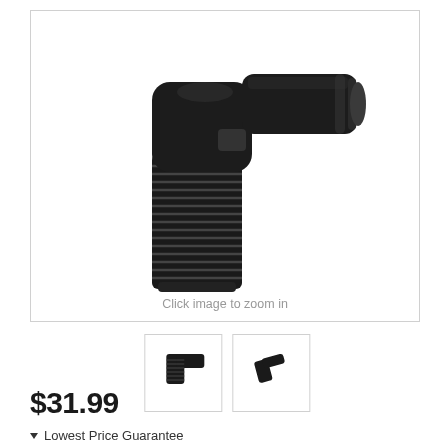[Figure (photo): Black 90-degree elbow pipe fitting with male NPT threaded end on the bottom and a barbed hose fitting on the side. Product shown on white background.]
Click image to zoom in
[Figure (photo): Thumbnail 1: Side view of black 90-degree elbow fitting showing L-shape profile]
[Figure (photo): Thumbnail 2: Angled view of black 90-degree elbow fitting]
$31.99
Lowest Price Guarantee